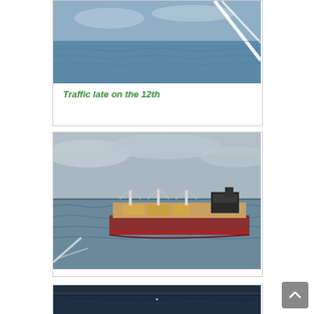[Figure (photo): Partial view of sea with sailboat rigging visible, cropped at top]
Traffic late on the 12th
[Figure (photo): Large cargo/bulk carrier ship on choppy sea under overcast sky, viewed from a sailboat]
[Figure (photo): Dark blue sea and sky at dusk or nighttime, viewed from boat deck, partial view]